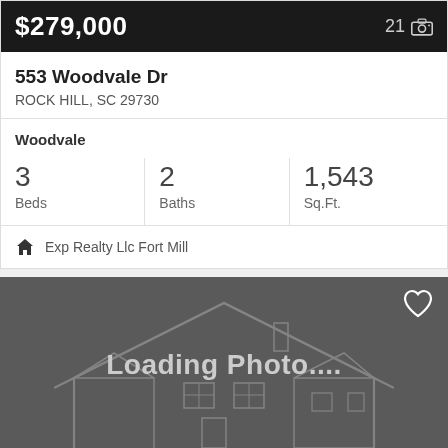$279,000
21 📷
553 Woodvale Dr
ROCK HILL, SC 29730
Woodvale
3 Beds
2 Baths
1,543 Sq.Ft.
Exp Realty Llc Fort Mill
[Figure (photo): Loading photo placeholder with house outline watermark and heart/favorite icon in top right corner]